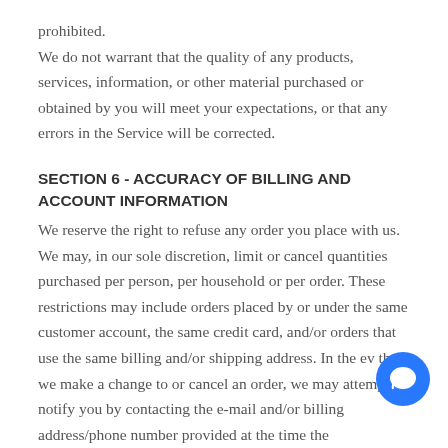prohibited.
We do not warrant that the quality of any products, services, information, or other material purchased or obtained by you will meet your expectations, or that any errors in the Service will be corrected.
SECTION 6 - ACCURACY OF BILLING AND ACCOUNT INFORMATION
We reserve the right to refuse any order you place with us. We may, in our sole discretion, limit or cancel quantities purchased per person, per household or per order. These restrictions may include orders placed by or under the same customer account, the same credit card, and/or orders that use the same billing and/or shipping address. In the ev that we make a change to or cancel an order, we may attempt to notify you by contacting the e-mail and/or billing address/phone number provided at the time the